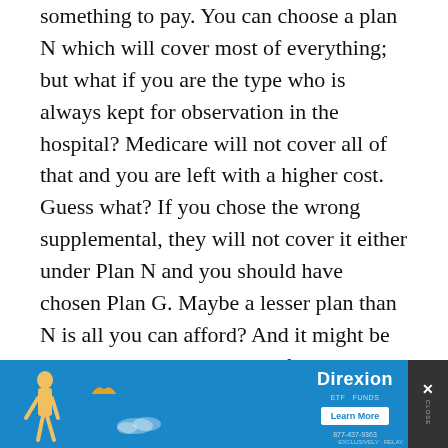something to pay. You can choose a plan N which will cover most of everything; but what if you are the type who is always kept for observation in the hospital? Medicare will not cover all of that and you are left with a higher cost. Guess what? If you chose the wrong supplemental, they will not cover it either under Plan N and you should have chosen Plan G. Maybe a lesser plan than N is all you can afford? And it might be so. Then there is the issue of which insurer. I chose AARP as they discount from the beginning and for 10 years as a member. Every little bit helps.
My Retuxin chemo was $14,000 a pop and 4 times. This came after a load of platelets at a
[Figure (other): Advertisement banner for Direxion with blue background, illustrated figure of a person and bird, Direxion logo, Learn More button, phone number, and close button]